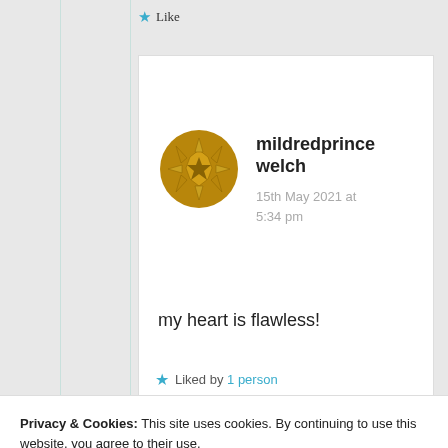★ Like
[Figure (illustration): Golden decorative star/snowflake avatar icon for user mildredprincewelch]
mildredprince welch
15th May 2021 at 5:34 pm
my heart is flawless!
★ Liked by 1 person
Privacy & Cookies: This site uses cookies. By continuing to use this website, you agree to their use.
To find out more, including how to control cookies, see here: Cookie Policy
Close and accept
15th May 2021 at